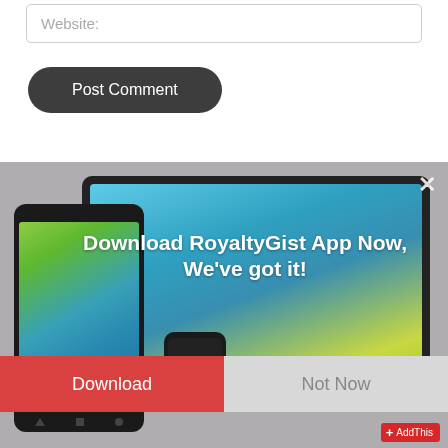Website:
Post Comment
[Figure (screenshot): A popup overlay showing Android devices (tablet, phone, smartwatch) with the text 'Download RoyaltyGist App Now, We've got it!' and two buttons: 'Download' (red) and 'Not Now' (gray). An AddThis badge appears in the bottom right corner.]